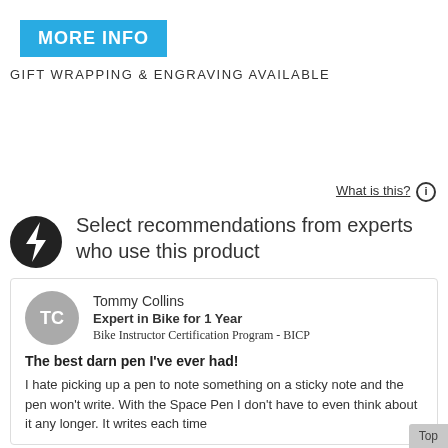MORE INFO
GIFT WRAPPING & ENGRAVING AVAILABLE
What is this? ℹ
Select recommendations from experts who use this product
Tommy Collins
Expert in Bike for 1 Year
Bike Instructor Certification Program - BICP
The best darn pen I've ever had!
I hate picking up a pen to note something on a sticky note and the pen won't write. With the Space Pen I don't have to even think about it any longer. It writes each time...